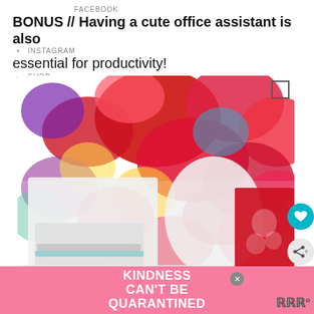FACEBOOK
BONUS // Having a cute office assistant is also essential for productivity!
INSTAGRAM
SHOP
[Figure (photo): Home office scene with colorful floral wallpaper background, white printer on desk, white chair, red patterned cushion]
WHAT'S NEXT → My Husband Was Laid Off...
KINDNESS CAN'T BE QUARANTINED